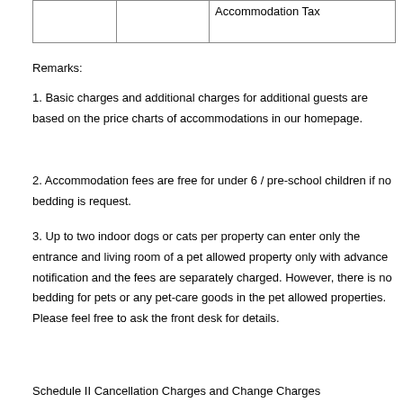|  |  | Accommodation Tax |
Remarks:
1. Basic charges and additional charges for additional guests are based on the price charts of accommodations in our homepage.
2. Accommodation fees are free for under 6 / pre-school children if no bedding is request.
3. Up to two indoor dogs or cats per property can enter only the entrance and living room of a pet allowed property only with advance notification and the fees are separately charged. However, there is no bedding for pets or any pet-care goods in the pet allowed properties. Please feel free to ask the front desk for details.
Schedule II Cancellation Charges and Change Charges